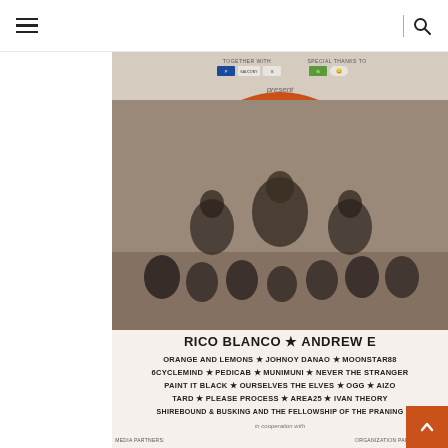Navigation header with hamburger menu and search icon
[Figure (photo): Roots Music Festival promotional poster. Features the title ROOTS in large white bold letters over an orange circle background, with 'music festival' in smaller white text. Multiple Filipino music artists are shown in a photo collage below the title. Bottom of poster shows lineup including Rico Blanco, Andrew E, Orange and Lemons, Johnoy Danao, Moonstar88, 6Cyclemind, Pedicab, Munimuni, Never The Stranger, Paint It Black, Ourselves The Elves, OGG, AIZO, Tard, Please Process, Area25, Ivan Theory, Shirebound & Busking and the Fellowship of the Praning. Top section has sponsor logos with 'together with' and 'special thanks to' sections, and 'present' text.]
RICO BLANCO ★ ANDREW E
ORANGE AND LEMONS ★ JOHNOY DANAO ★ MOONSTAR88
6CYCLEMIND ★ PEDICAB ★ MUNIMUNI ★ NEVER THE STRANGER
PAINT IT BLACK ★ OURSELVES THE ELVES ★ OGG ★ AIZO
TARD ★ PLEASE PROCESS ★ AREA25 ★ IVAN THEORY
SHIREBOUND & BUSKING AND THE FELLOWSHIP OF THE PRANING
in cooperation with
MEDIA PARTNERS:
ORGANIZATION PARTNERS: